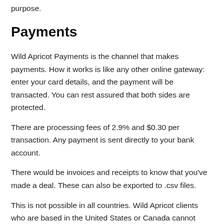purpose.
Payments
Wild Apricot Payments is the channel that makes payments. How it works is like any other online gateway: enter your card details, and the payment will be transacted. You can rest assured that both sides are protected.
There are processing fees of 2.9% and $0.30 per transaction. Any payment is sent directly to your bank account.
There would be invoices and receipts to know that you've made a deal. These can also be exported to .csv files.
This is not possible in all countries. Wild Apricot clients who are based in the United States or Canada cannot receive these perks. Clients or members based in other countries might need to look for alternative payment options. They can still use the software's other